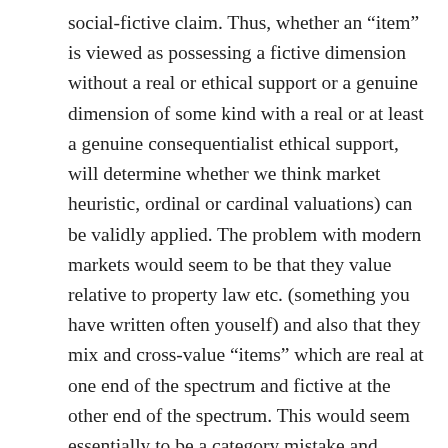social-fictive claim. Thus, whether an “item” is viewed as possessing a fictive dimension without a real or ethical support or a genuine dimension of some kind with a real or at least a genuine consequentialist ethical support, will determine whether we think market heuristic, ordinal or cardinal valuations) can be validly applied. The problem with modern markets would seem to be that they value relative to property law etc. (something you have written often youself) and also that they mix and cross-value “items” which are real at one end of the spectrum and fictive at the other end of the spectrum. This would seem essentially to be a category mistake and perhaps explain at the most fundamental level why market fundamentalism can never work.
I tend to be a fundamentalist in the other direction